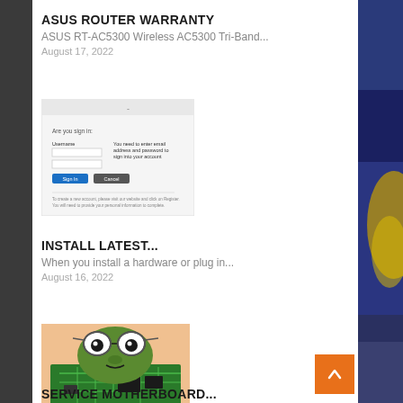ASUS ROUTER WARRANTY
ASUS RT-AC5300 Wireless AC5300 Tri-Band...
August 17, 2022
[Figure (screenshot): Screenshot of a login or sign-in form with fields, a blue button and a dark button, and some explanatory text below]
INSTALL LATEST...
When you install a hardware or plug in...
August 16, 2022
[Figure (illustration): Cartoon/illustrated image of a frog character wearing glasses sitting on a green circuit board/motherboard]
SERVICE MOTHERBOARD...